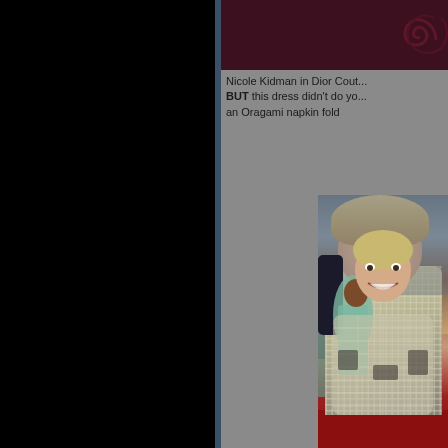[Figure (photo): Top portion showing dark maroon/burgundy background with decorative swirl, partially cropped photo of Nicole Kidman in Dior Couture gown]
Nicole Kidman in Dior Couture... BUT this dress didn't do yo... an Oragami napkin fold
[Figure (photo): Photo of a smiling blonde woman in a heavily sequined/beaded silver dress on a red carpet, with other attendees in the background including a person in a teal/gold dress]